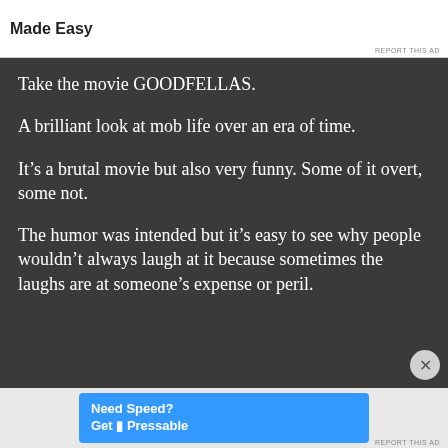[Figure (screenshot): Top advertisement banner with text 'Made Easy' and Parse.ly logo]
Take the movie GOODFELLAS.
A brilliant look at mob life over an era of time.
It's a brutal movie but also very funny. Some of it overt, some not.
The humor was intended but it's easy to see why people wouldn't always laugh at it because sometimes the laughs are at someone's expense or peril.
[Figure (screenshot): Bottom advertisement banner: 'Need Speed? Get Pressable' with blue background and running figure]